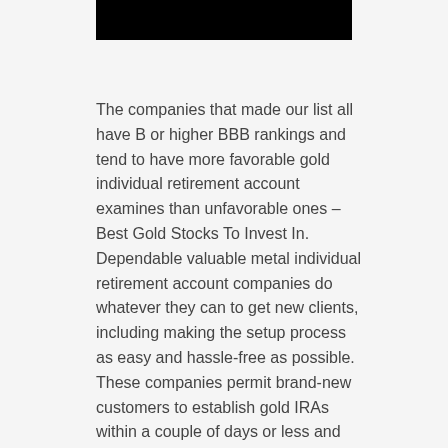[Figure (other): Black redacted/header bar at top of page]
The companies that made our list all have B or higher BBB rankings and tend to have more favorable gold individual retirement account examines than unfavorable ones – Best Gold Stocks To Invest In. Dependable valuable metal individual retirement account companies do whatever they can to get new clients, including making the setup process as easy and hassle-free as possible. These companies permit brand-new customers to establish gold IRAs within a couple of days or less and